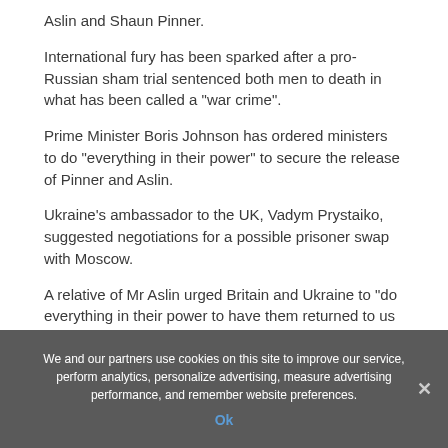Aslin and Shaun Pinner.
International fury has been sparked after a pro-Russian sham trial sentenced both men to death in what has been called a "war crime".
Prime Minister Boris Johnson has ordered ministers to do "everything in their power" to secure the release of Pinner and Aslin.
Ukraine's ambassador to the UK, Vadym Prystaiko, suggested negotiations for a possible prisoner swap with Moscow.
A relative of Mr Aslin urged Britain and Ukraine to "do everything in their power to have them returned to us safely, and soon".
We and our partners use cookies on this site to improve our service, perform analytics, personalize advertising, measure advertising performance, and remember website preferences.